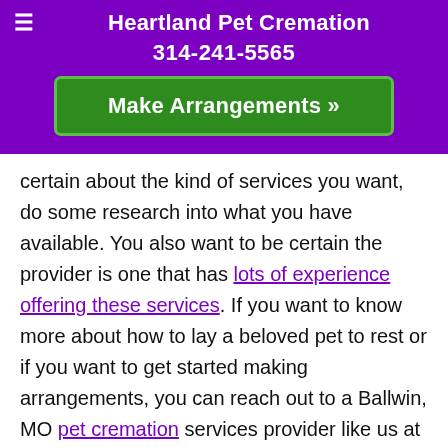Heartland Pet Cremation
314-241-5565
Make Arrangements »
certain about the kind of services you want, do some research into what you have available. You also want to be certain the provider is one that has lots of experience offering these services. If you want to know more about how to lay a beloved pet to rest or if you want to get started making arrangements, you can reach out to a Ballwin, MO pet cremation services provider like us at Heartland Pet Cremation. We are here to answer all of the questions you have. Give us a call right now to learn more